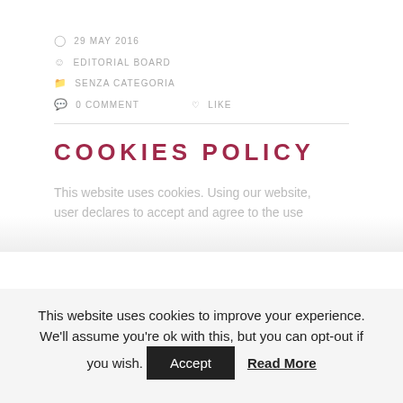29 MAY 2016
EDITORIAL BOARD
SENZA CATEGORIA
0 COMMENT   LIKE
COOKIES POLICY
This website uses cookies. Using our website, user declares to accept and agree to the use
This website uses cookies to improve your experience. We'll assume you're ok with this, but you can opt-out if you wish. Accept  Read More